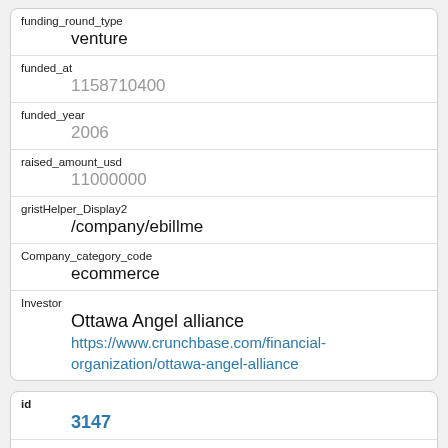| Field | Value |
| --- | --- |
| funding_round_type | venture |
| funded_at | 1158710400 |
| funded_year | 2006 |
| raised_amount_usd | 11000000 |
| gristHelper_Display2 | /company/ebillme |
| Company_category_code | ecommerce |
| Investor | Ottawa Angel alliance
https://www.crunchbase.com/financial-organization/ottawa-angel-alliance |
| Field | Value |
| --- | --- |
| id | 3147 |
| manualSort |  |